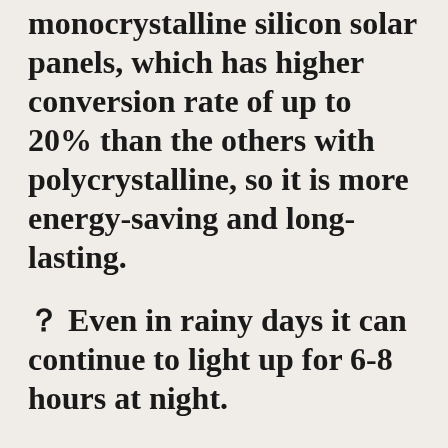monocrystalline silicon solar panels, which has higher conversion rate of up to 20% than the others with polycrystalline, so it is more energy-saving and long-lasting.
？  Even in rainy days it can continue to light up for 6-8 hours at night.
？  Retro Style Metal Solar Lantern: Pure handmade retro craftsmanship, each lantern is unique. Traditional retro crafts can match various yard design